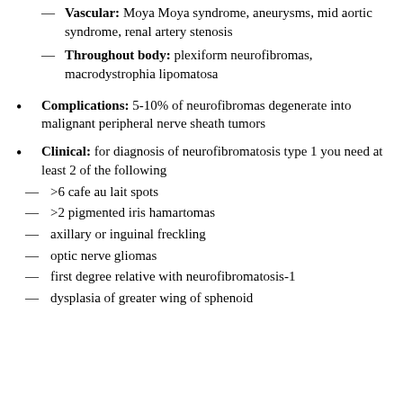— Vascular: Moya Moya syndrome, aneurysms, mid aortic syndrome, renal artery stenosis
— Throughout body: plexiform neurofibromas, macrodystrophia lipomatosa
• Complications: 5-10% of neurofibromas degenerate into malignant peripheral nerve sheath tumors
• Clinical: for diagnosis of neurofibromatosis type 1 you need at least 2 of the following
— >6 cafe au lait spots
— >2 pigmented iris hamartomas
— axillary or inguinal freckling
— optic nerve gliomas
— first degree relative with neurofibromatosis-1
— dysplasia of greater wing of sphenoid